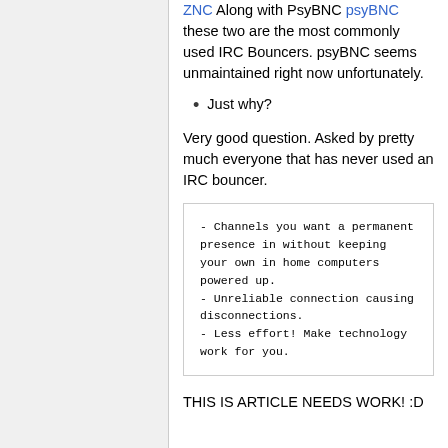ZNC Along with PsyBNC psyBNC these two are the most commonly used IRC Bouncers. psyBNC seems unmaintained right now unfortunately.
Just why?
Very good question. Asked by pretty much everyone that has never used an IRC bouncer.
- Channels you want a permanent presence in without keeping your own in home computers powered up.
- Unreliable connection causing disconnections.
- Less effort! Make technology work for you.
THIS IS ARTICLE NEEDS WORK! :D